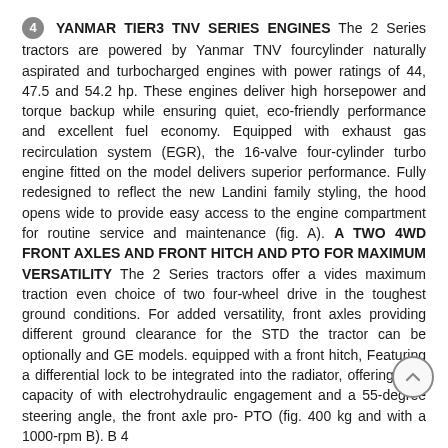4 YANMAR TIER3 TNV SERIES ENGINES The 2 Series tractors are powered by Yanmar TNV fourcylinder naturally aspirated and turbocharged engines with power ratings of 44, 47.5 and 54.2 hp. These engines deliver high horsepower and torque backup while ensuring quiet, eco-friendly performance and excellent fuel economy. Equipped with exhaust gas recirculation system (EGR), the 16-valve four-cylinder turbo engine fitted on the model delivers superior performance. Fully redesigned to reflect the new Landini family styling, the hood opens wide to provide easy access to the engine compartment for routine service and maintenance (fig. A). A TWO 4WD FRONT AXLES AND FRONT HITCH AND PTO FOR MAXIMUM VERSATILITY The 2 Series tractors offer a vides maximum traction even choice of two four-wheel drive in the toughest ground conditions. For added versatility, front axles providing different ground clearance for the STD the tractor can be optionally and GE models. equipped with a front hitch, Featuring a differential lock to be integrated into the radiator, offering a lift capacity of with electrohydraulic engagement and a 55-degree steering angle, the front axle pro- PTO (fig. 400 kg and with a 1000-rpm B). B 4